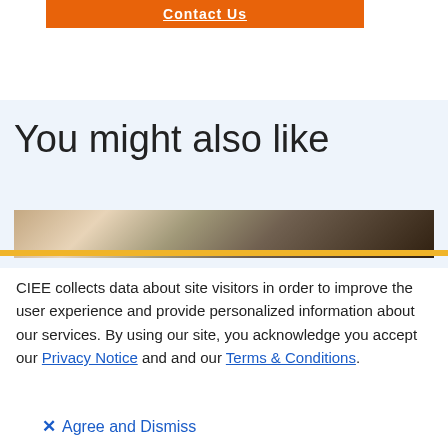[Figure (other): Orange 'Contact Us' button partially visible at the top of the page]
You might also like
[Figure (photo): Partial landscape photo strip showing outdoor scenery with trees]
CIEE collects data about site visitors in order to improve the user experience and provide personalized information about our services. By using our site, you acknowledge you accept our Privacy Notice and and our Terms & Conditions.
✕ Agree and Dismiss